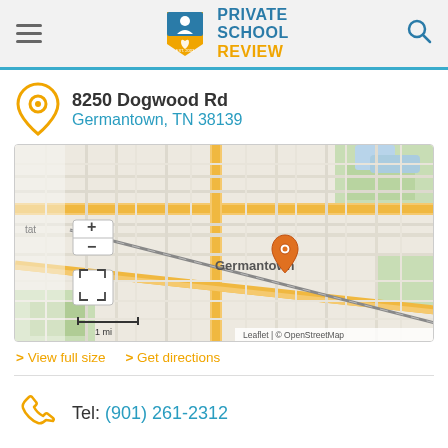Private School Review
8250 Dogwood Rd
Germantown, TN 38139
[Figure (map): OpenStreetMap map centered on Germantown, TN showing location marker at 8250 Dogwood Rd. Includes zoom controls (+/-), fullscreen button, scale bar (1 mi), and attribution: Leaflet | © OpenStreetMap]
View full size   Get directions
Tel: (901) 261-2312